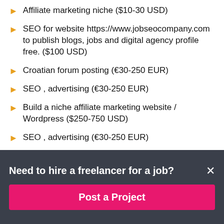Affiliate marketing niche ($10-30 USD)
SEO for website https://www.jobseocompany.com to publish blogs, jobs and digital agency profile free. ($100 USD)
Croatian forum posting (€30-250 EUR)
SEO , advertising (€30-250 EUR)
Build a niche affiliate marketing website / Wordpress ($250-750 USD)
SEO , advertising (€30-250 EUR)
Looking for LinkedIn marketing specialists for eLearning
Need to hire a freelancer for a job?
Post a Project